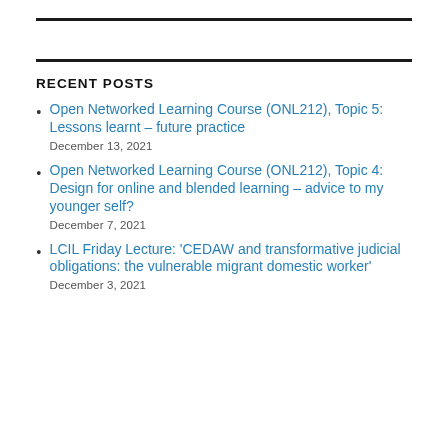RECENT POSTS
Open Networked Learning Course (ONL212), Topic 5: Lessons learnt – future practice
December 13, 2021
Open Networked Learning Course (ONL212), Topic 4: Design for online and blended learning – advice to my younger self?
December 7, 2021
LCIL Friday Lecture: 'CEDAW and transformative judicial obligations: the vulnerable migrant domestic worker'
December 3, 2021